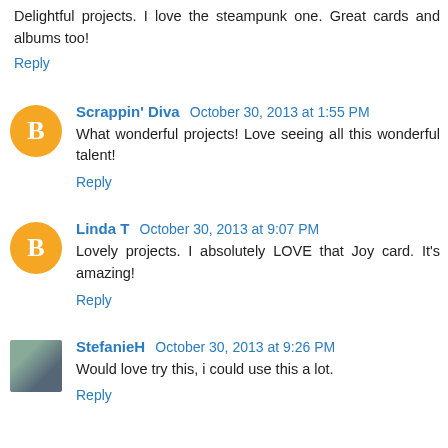Delightful projects. I love the steampunk one. Great cards and albums too!
Reply
Scrappin' Diva October 30, 2013 at 1:55 PM
What wonderful projects! Love seeing all this wonderful talent!
Reply
Linda T October 30, 2013 at 9:07 PM
Lovely projects. I absolutely LOVE that Joy card. It's amazing!
Reply
StefanieH October 30, 2013 at 9:26 PM
Would love try this, i could use this a lot.
Reply